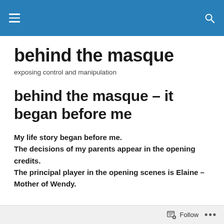behind the masque [navigation header with hamburger menu and search icon]
behind the masque
exposing control and manipulation
behind the masque – it began before me
My life story began before me.
The decisions of my parents appear in the opening credits.
The principal player in the opening scenes is Elaine – Mother of Wendy.
Follow ...